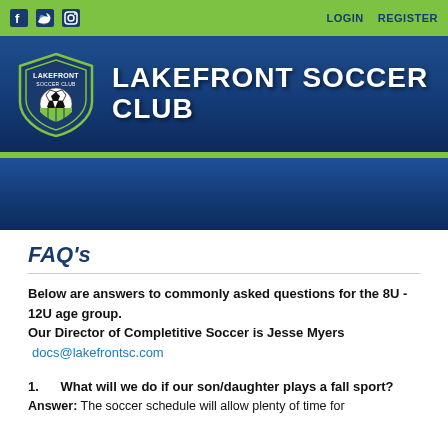f  Twitter  Instagram  LOGIN  REGISTER
[Figure (logo): Lakefront Soccer Club shield logo with soccer ball, green and navy blue colors]
LAKEFRONT SOCCER CLUB
FAQ's
Below are answers to commonly asked questions for the 8U - 12U age group.
Our Director of Completitive Soccer is Jesse Myers
 docs@lakefrontsc.com
1.  What will we do if our son/daughter plays a fall sport?
Answer: The soccer schedule will allow plenty of time for